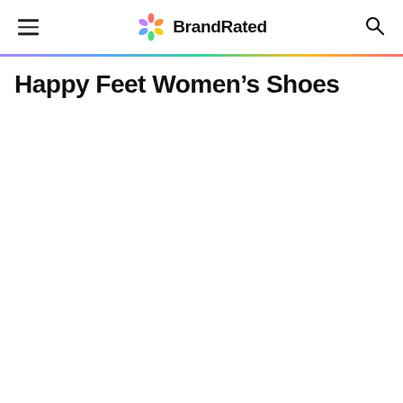BrandRated
Happy Feet Women's Shoes